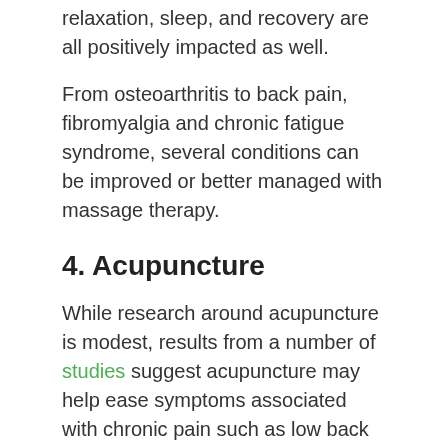relaxation, sleep, and recovery are all positively impacted as well.
From osteoarthritis to back pain, fibromyalgia and chronic fatigue syndrome, several conditions can be improved or better managed with massage therapy.
4. Acupuncture
While research around acupuncture is modest, results from a number of studies suggest acupuncture may help ease symptoms associated with chronic pain such as low back pain, neck pain, headaches, and osteoarthritis.